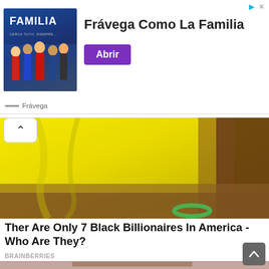[Figure (screenshot): Advertisement banner for Frávega with image of people and text 'FAMILIA', headline 'Frávega Como La Familia', purple 'Abrir' button, and Frávega logo at bottom]
[Figure (photo): Yellow fabric or clothing against an outdoor background with brown ground and green hoop visible]
Ther Are Only 7 Black Billionaires In America - Who Are They?
BRAINBERRIES
[Figure (photo): Photo of a woman with long brown hair wearing a black choker necklace, photographed in a studio-like setting]